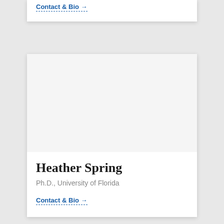Contact & Bio →
[Figure (photo): Profile photo placeholder area (white/light grey box) for Heather Spring]
Heather Spring
Ph.D., University of Florida
Contact & Bio →